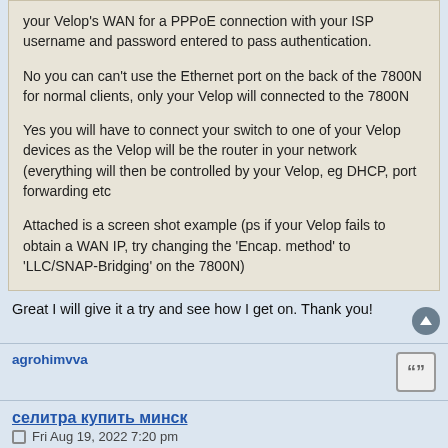your Velop's WAN for a PPPoE connection with your ISP username and password entered to pass authentication.

No you can can't use the Ethernet port on the back of the 7800N for normal clients, only your Velop will connected to the 7800N

Yes you will have to connect your switch to one of your Velop devices as the Velop will be the router in your network (everything will then be controlled by your Velop, eg DHCP, port forwarding etc

Attached is a screen shot example (ps if your Velop fails to obtain a WAN IP, try changing the 'Encap. method' to 'LLC/SNAP-Bridging' on the 7800N)
Great I will give it a try and see how I get on. Thank you!
agrohimvva
селитра купить минск
Fri Aug 19, 2022 7:20 pm
Доброго времени суток друзья.